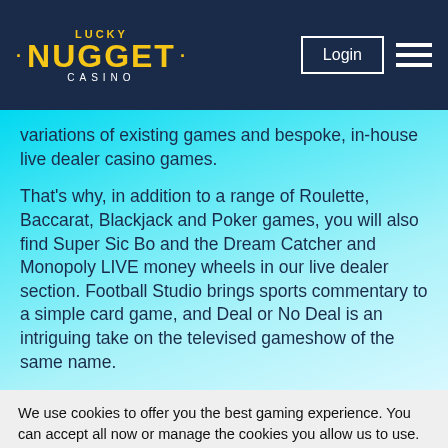Lucky Nugget Casino — Login
variations of existing games and bespoke, in-house live dealer casino games.
That's why, in addition to a range of Roulette, Baccarat, Blackjack and Poker games, you will also find Super Sic Bo and the Dream Catcher and Monopoly LIVE money wheels in our live dealer section. Football Studio brings sports commentary to a simple card game, and Deal or No Deal is an intriguing take on the televised gameshow of the same name.
We use cookies to offer you the best gaming experience. You can accept all now or manage the cookies you allow us to use. For more info, please read our Cookie Policy
MANAGE COOKIES
ACCEPT ALL